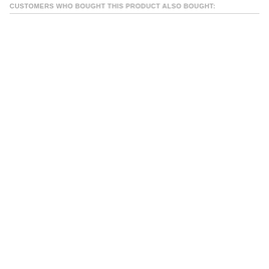CUSTOMERS WHO BOUGHT THIS PRODUCT ALSO BOUGHT: